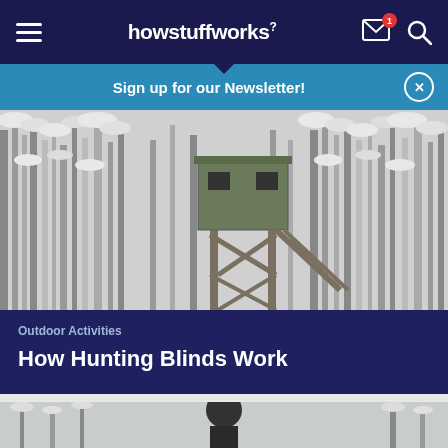howstuffworks
Sign up for our Newsletter!
[Figure (photo): Black and white photo of a wooden hunting blind/tower stand elevated on stilts among snow-covered trees in a winter forest]
Outdoor Activities
How Hunting Blinds Work
[Figure (photo): Partial view of another outdoor winter scene with a person, cropped at bottom of page]